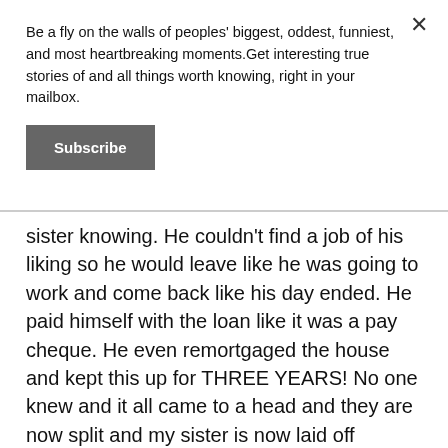Be a fly on the walls of peoples' biggest, oddest, funniest, and most heartbreaking moments.Get interesting true stories of and all things worth knowing, right in your mailbox.
Subscribe
sister knowing. He couldn't find a job of his liking so he would leave like he was going to work and come back like his day ended. He paid himself with the loan like it was a pay cheque. He even remortgaged the house and kept this up for THREE YEARS! No one knew and it all came to a head and they are now split and my sister is now laid off because of medical and no way of paying off this debt and now awful credit because of it.